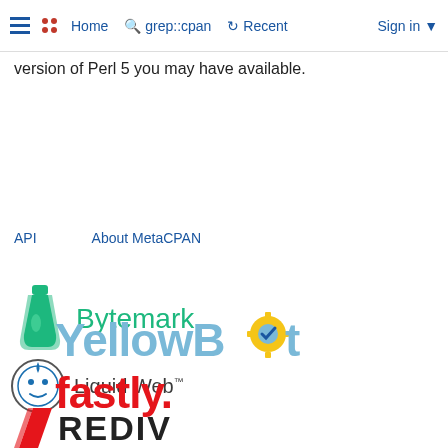≡  •• Home  🔍 grep::cpan  🕐 Recent  Sign in ▾
version of Perl 5 you may have available.
API    About MetaCPAN
[Figure (logo): Bytemark logo — green flask icon with 'Bytemark' text in green]
[Figure (logo): Liquid Web logo — circular robot/face icon with 'Liquid Web™' text]
[Figure (logo): YellowBot logo — stylized text 'YellowBot' in blue/yellow with gear icon]
[Figure (logo): fastly logo — red bold lowercase 'fastly.' text]
[Figure (logo): Partial REDIV/REDI logo at bottom, cut off]